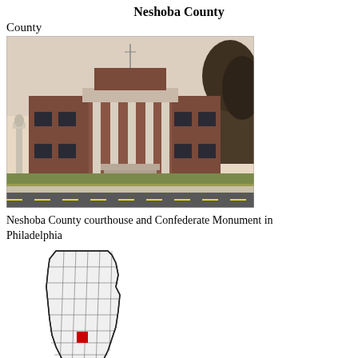Neshoba County
County
[Figure (photo): Photograph of Neshoba County courthouse, a brick building with white columns, and Confederate Monument visible to the left, located in Philadelphia, Mississippi. Green lawn in foreground, street in front.]
Neshoba County courthouse and Confederate Monument in Philadelphia
[Figure (map): Outline map of Mississippi showing county boundaries. Neshoba County is highlighted with a red square in the south-central region of the state.]